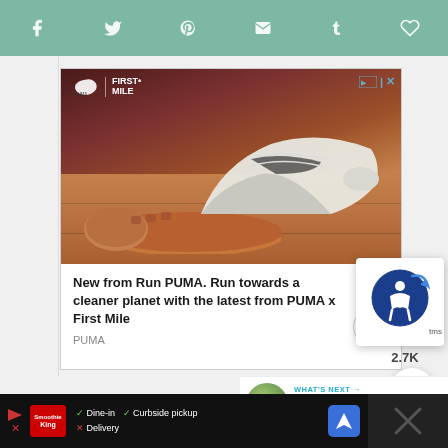Social share toolbar with icons: Facebook, Twitter, Pinterest, Email, Tumblr, Like
[Figure (screenshot): PUMA x First Mile advertisement showing running shoes on a wooden floor. Text: 'New from Run PUMA. Run towards a cleaner planet with the latest from PUMA x First Mile'. Brand: PUMA]
[Figure (logo): Accessibility widget icon - blue circle with person figure]
2.7K
[Figure (infographic): Share button with plus icon]
WHAT'S NEXT → Fresh Mexican Chicken Sou...
[Figure (screenshot): Bottom advertisement bar: Smoothie King logo with Dine-in (check), Curbside pickup (check), Delivery (cross) options and navigation icon]